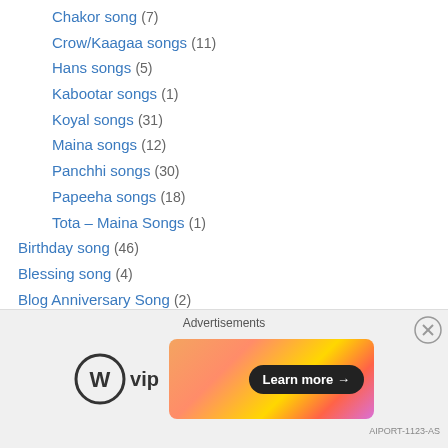Chakor song (7)
Crow/Kaagaa songs (11)
Hans songs (5)
Kabootar songs (1)
Koyal songs (31)
Maina songs (12)
Panchhi songs (30)
Papeeha songs (18)
Tota – Maina Songs (1)
Birthday song (46)
Blessing song (4)
Blog Anniversary Song (2)
Blog statistics (3)
Blog ten year challenge (2009-2019) (48)
Blog ten year challenge (2010-2020) (97)
Blog Ten Year Challenge (2011- 2021) (32)
[Figure (infographic): Advertisements bar with WordPress VIP logo and a colorful banner with 'Learn more' button and a close (X) button]